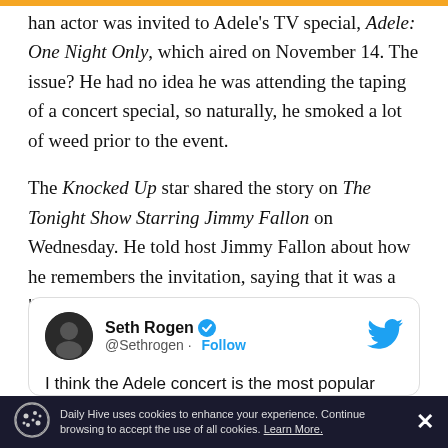...han actor was invited to Adele's TV special, Adele: One Night Only, which aired on November 14. The issue? He had no idea he was attending the taping of a concert special, so naturally, he smoked a lot of weed prior to the event.
The Knocked Up star shared the story on The Tonight Show Starring Jimmy Fallon on Wednesday. He told host Jimmy Fallon about how he remembers the invitation, saying that it was a "small Adele concert."
Seth Rogen @Sethrogen · Follow
I think the Adele concert is the most popular
Daily Hive uses cookies to enhance your experience. Continue browsing to accept the use of all cookies. Learn More.